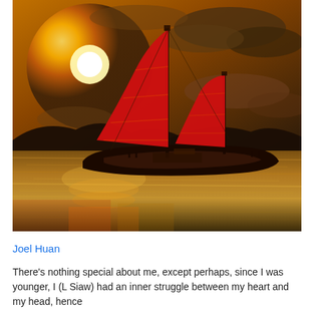[Figure (photo): A Chinese junk boat with large bright red sails silhouetted against a dramatic golden sunset sky over calm reflective water, with mountains in the background.]
Joel Huan
There's nothing special about me, except perhaps, since I was younger, I (L Siaw) had an inner struggle between my heart and my head, hence